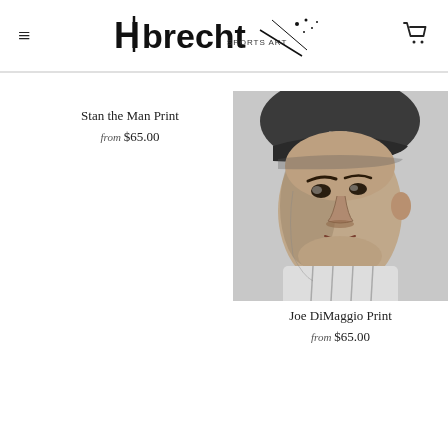Hobrecht Sports Art — navigation header with hamburger menu and cart icon
Stan the Man Print
from $65.00
[Figure (illustration): Black and white pencil drawing portrait of Joe DiMaggio wearing a New York Yankees cap, looking slightly to the side]
Joe DiMaggio Print
from $65.00